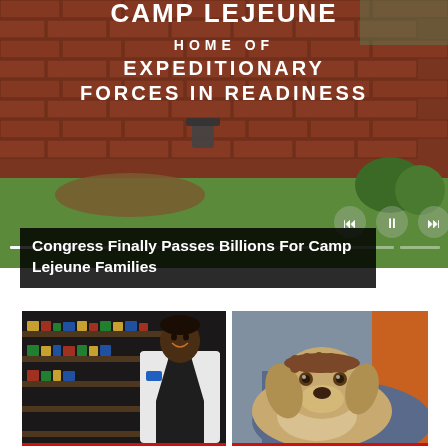[Figure (photo): Camp Lejeune entrance brick sign reading 'Camp Lejeune Home of Expeditionary Forces in Readiness' with grass and trees in background, slideshow progress bars and playback controls visible]
Congress Finally Passes Billions For Camp Lejeune Families
[Figure (photo): A woman in a white lab coat standing in front of pharmacy or supplement store shelves, smiling at camera]
[Figure (photo): A yellow labrador dog being petted by a person wearing an orange shirt, dog looking up at camera]